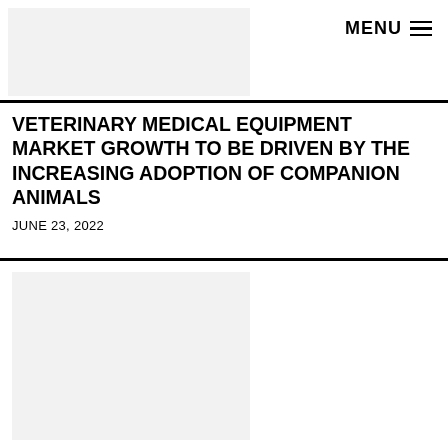MENU
[Figure (photo): Header image placeholder (light gray rectangle)]
VETERINARY MEDICAL EQUIPMENT MARKET GROWTH TO BE DRIVEN BY THE INCREASING ADOPTION OF COMPANION ANIMALS
JUNE 23, 2022
[Figure (photo): Article image placeholder (light gray rectangle)]